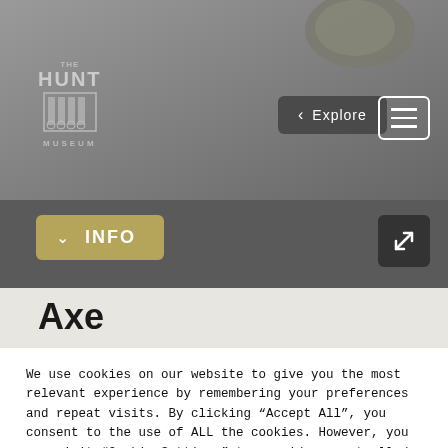[Figure (screenshot): Screenshot of The Hunt Museum website showing a stone axe artifact page with navigation, Info button, expand button, and a cookie consent overlay. The top section shows a grey background with an axe artifact image, the Hunt Museum logo at top-left, an Explore back button and hamburger menu at top-right. Below is a dark info bar with a gold INFO dropdown button and a dark expand/fullscreen button. The main content area shows the title 'Axe' on a light beige background. A white cookie consent popup overlays the lower portion with text and two buttons: Cookie Settings and Accept All.]